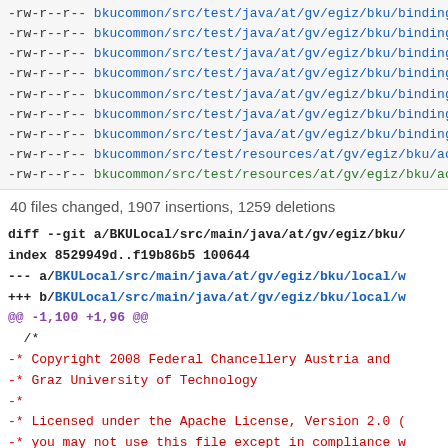-rw-r--r-- bkucommon/src/test/java/at/gv/egiz/bku/binding/BindingPro...
-rw-r--r-- bkucommon/src/test/java/at/gv/egiz/bku/binding/DataUrlCo...
-rw-r--r-- bkucommon/src/test/java/at/gv/egiz/bku/binding/ExpiryRemo...
-rw-r--r-- bkucommon/src/test/java/at/gv/egiz/bku/binding/HttpBinding...
-rw-r--r-- bkucommon/src/test/java/at/gv/egiz/bku/binding/MultipartSL...
-rw-r--r-- bkucommon/src/test/java/at/gv/egiz/bku/binding/NullOperati...
-rw-r--r-- bkucommon/src/test/java/at/gv/egiz/bku/binding/TestDataUrl...
-rw-r--r-- bkucommon/src/test/resources/at/gv/egiz/bku/accesscontrol...
-rw-r--r-- bkucommon/src/test/resources/at/gv/egiz/bku/accesscontrol...
40 files changed, 1907 insertions, 1259 deletions
diff --git a/BKULocal/src/main/java/at/gv/egiz/bku/
index 8529949d..f19b86b5 100644
--- a/BKULocal/src/main/java/at/gv/egiz/bku/local/w
+++ b/BKULocal/src/main/java/at/gv/egiz/bku/local/w
@@ -1,100 +1,96 @@
  /*
 -* Copyright 2008 Federal Chancellery Austria and
 -* Graz University of Technology
 -*
 -* Licensed under the Apache License, Version 2.0 (
 -* you may not use this file except in compliance w
 -* You may obtain a copy of the License at
 -*
 -*      http://www.apache.org/licenses/LICENSE-2.0
 -*
 -* Unless required by applicable law or agreed to i